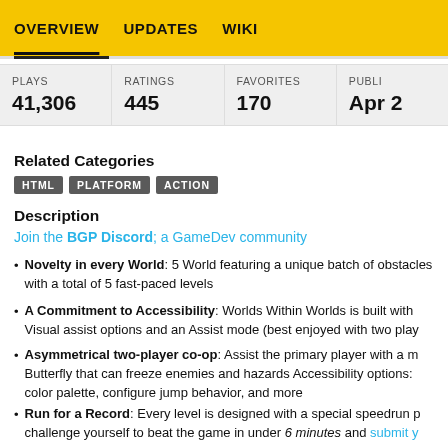OVERVIEW   UPDATES   WIKI
| PLAYS | RATINGS | FAVORITES | PUBLI... |
| --- | --- | --- | --- |
| 41,306 | 445 | 170 | Apr ... |
Related Categories
HTML   PLATFORM   ACTION
Description
Join the BGP Discord; a GameDev community
Novelty in every World: 5 World featuring a unique batch of obstacles with a total of 5 fast-paced levels
A Commitment to Accessibility: Worlds Within Worlds is built with Visual assist options and an Assist mode (best enjoyed with two players)
Asymmetrical two-player co-op: Assist the primary player with a mouse-controlled Butterfly that can freeze enemies and hazards Accessibility options: color palette, configure jump behavior, and more
Run for a Record: Every level is designed with a special speedrun path, challenge yourself to beat the game in under 6 minutes and submit your...